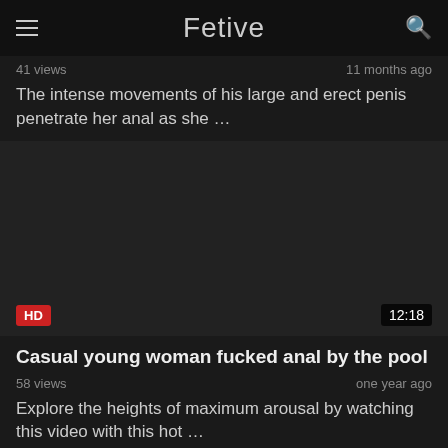Fetive
41 views	11 months ago
The intense movements of his large and erect penis penetrate her anal as she …
[Figure (other): Dark video thumbnail with HD badge and 12:18 duration]
Casual young woman fucked anal by the pool
58 views	one year ago
Explore the heights of maximum arousal by watching this video with this hot …